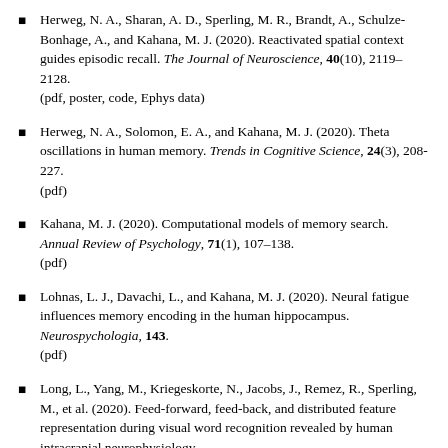Herweg, N. A., Sharan, A. D., Sperling, M. R., Brandt, A., Schulze-Bonhage, A., and Kahana, M. J. (2020). Reactivated spatial context guides episodic recall. The Journal of Neuroscience, 40(10), 2119–2128. (pdf, poster, code, Ephys data)
Herweg, N. A., Solomon, E. A., and Kahana, M. J. (2020). Theta oscillations in human memory. Trends in Cognitive Science, 24(3), 208-227. (pdf)
Kahana, M. J. (2020). Computational models of memory search. Annual Review of Psychology, 71(1), 107–138. (pdf)
Lohnas, L. J., Davachi, L., and Kahana, M. J. (2020). Neural fatigue influences memory encoding in the human hippocampus. Neurospychologia, 143. (pdf)
Long, L., Yang, M., Kriegeskorte, N., Jacobs, J., Remez, R., Sperling, M., et al. (2020). Feed-forward, feed-back, and distributed feature representation during visual word recognition revealed by human intracranial neurophysiology.